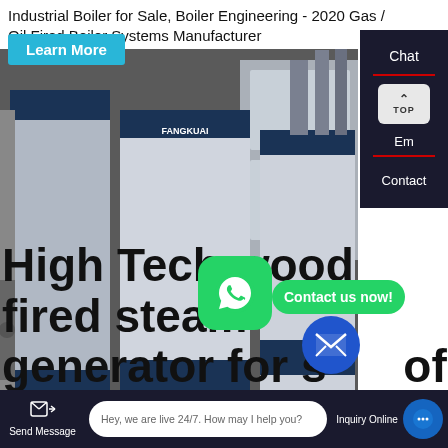Industrial Boiler for Sale, Boiler Engineering - 2020 Gas / Oil Fired Boiler Systems Manufacturer
[Figure (photo): Industrial boilers (FANGKUAI branded) in a factory/showroom setting, white and dark blue units side by side]
Contact us now!
Chat
Em
Contact
High Tech wood fired steam generator for sale of
Hey, we are live 24/7. How may I help you?
Send Message
Inquiry Online